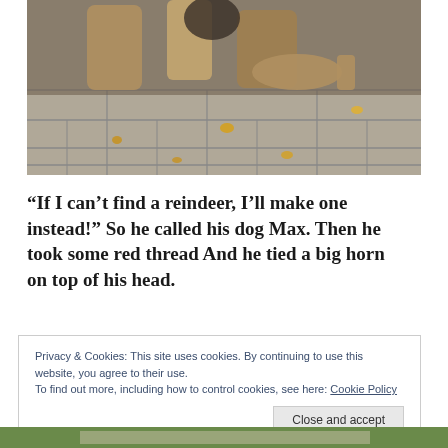[Figure (photo): Close-up photo of bronze statue figures at base, standing on grey stone paving tiles with fallen autumn leaves scattered around]
“If I can’t find a reindeer, I’ll make one instead!” So he called his dog Max. Then he took some red thread And he tied a big horn on top of his head.
Privacy & Cookies: This site uses cookies. By continuing to use this website, you agree to their use.
To find out more, including how to control cookies, see here: Cookie Policy
[Figure (photo): Partial view of another outdoor photo at bottom of page, showing greenery and what appears to be a monument or plaque]